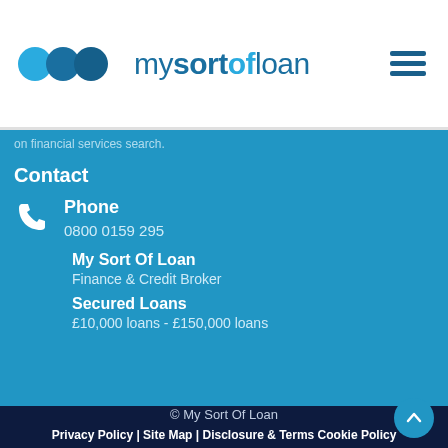mysortofloan
on financial services search.
Contact
Phone
0800 0159 295
My Sort Of Loan
Finance & Credit Broker
Secured Loans
£10,000 loans - £150,000 loans
© My Sort Of Loan
Privacy Policy | Site Map | Disclosure & Terms Cookie Policy